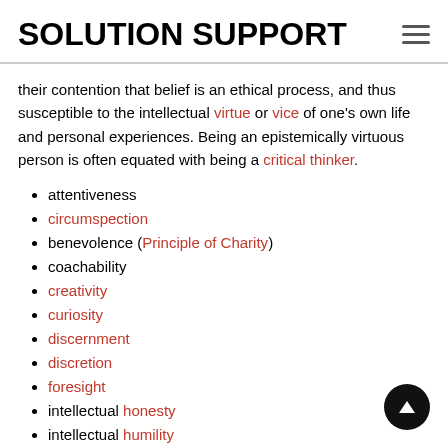SOLUTION SUPPORT
their contention that belief is an ethical process, and thus susceptible to the intellectual virtue or vice of one's own life and personal experiences. Being an epistemically virtuous person is often equated with being a critical thinker.
attentiveness
circumspection
benevolence (Principle of Charity)
coachability
creativity
curiosity
discernment
discretion
foresight
intellectual honesty
intellectual humility